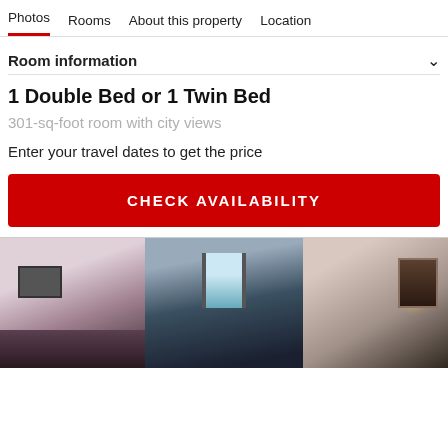Photos  Rooms  About this property  Location
Room information
1 Double Bed or 1 Twin Bed
301-sq-foot room with city views
Enter your travel dates to get the price
CHECK AVAILABILITY
[Figure (photo): Hotel room interior showing beds with purple/mauve walls on the left panel, teal curtains with window light in the center panel, and a warm-lit room with mirror and lamp on the right panel.]